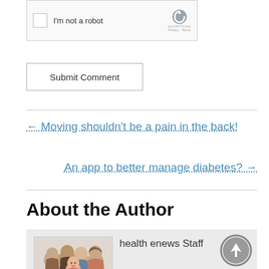[Figure (screenshot): reCAPTCHA widget with checkbox and 'I'm not a robot' text]
Submit Comment
← Moving shouldn't be a pain in the back!
An app to better manage diabetes? →
About the Author
[Figure (illustration): Group illustration of health enews Staff writers]
health enews Staff
health enews staff is a group of experienced writers from our Advocate Aurora Health sites, which also includes freelance or intern writers.